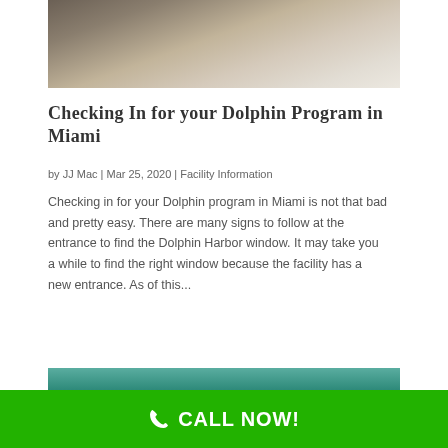[Figure (photo): Photo of person at a table looking at a brochure or map, indoor setting with tile floor]
Checking In for your Dolphin Program in Miami
by JJ Mac | Mar 25, 2020 | Facility Information
Checking in for your Dolphin program in Miami is not that bad and pretty easy. There are many signs to follow at the entrance to find the Dolphin Harbor window. It may take you a while to find the right window because the facility has a new entrance. As of this...
[Figure (photo): Photo of water/pool area at a dolphin facility, blue-green water visible]
CALL NOW!